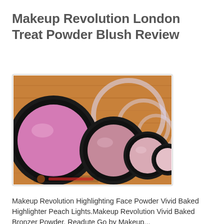Makeup Revolution London Treat Powder Blush Review
[Figure (photo): Four round blush compacts of varying sizes arranged on a wooden surface, showing shades from pink to light rose, with clear lids partially open in the background.]
Makeup Revolution Highlighting Face Powder Vivid Baked Highlighter Peach Lights.Makeup Revolution Vivid Baked Bronzer Powder. Readute Go by Makeup...